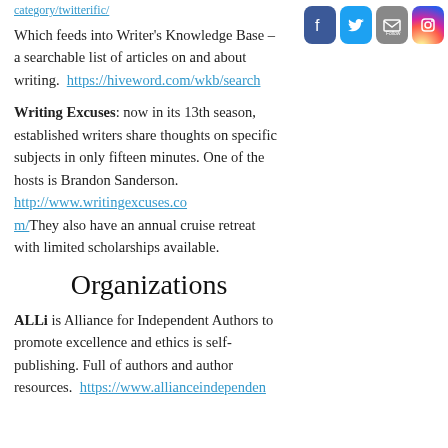category/twitterific/
[Figure (other): Social media icons: Facebook, Twitter, Email/Follow, Instagram]
Which feeds into Writer's Knowledge Base – a searchable list of articles on and about writing. https://hiveword.com/wkb/search
Writing Excuses: now in its 13th season, established writers share thoughts on specific subjects in only fifteen minutes. One of the hosts is Brandon Sanderson. http://www.writingexcuses.com/ They also have an annual cruise retreat with limited scholarships available.
Organizations
ALLi is Alliance for Independent Authors to promote excellence and ethics is self-publishing. Full of authors and author resources. https://www.allianceindependen